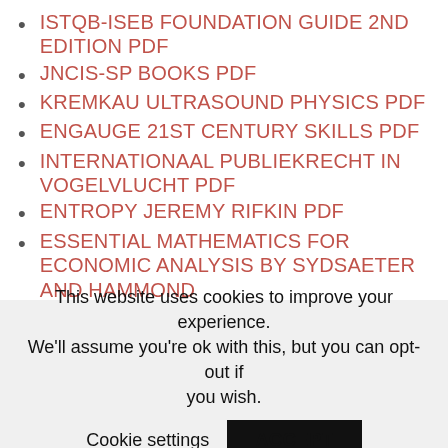ISTQB-ISEB FOUNDATION GUIDE 2ND EDITION PDF
JNCIS-SP BOOKS PDF
KREMKAU ULTRASOUND PHYSICS PDF
ENGAUGE 21ST CENTURY SKILLS PDF
INTERNATIONAAL PUBLIEKRECHT IN VOGELVLUCHT PDF
ENTROPY JEREMY RIFKIN PDF
ESSENTIAL MATHEMATICS FOR ECONOMIC ANALYSIS BY SYDSAETER AND HAMMOND
This website uses cookies to improve your experience. We'll assume you're ok with this, but you can opt-out if you wish. Cookie settings ACCEPT